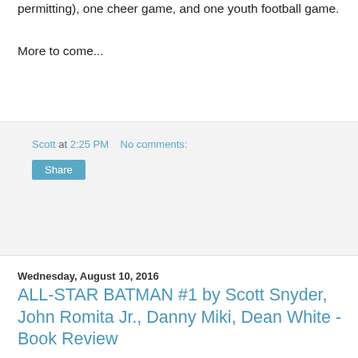permitting), one cheer game, and one youth football game.
More to come...
Scott at 2:25 PM    No comments:
Share
Wednesday, August 10, 2016
ALL-STAR BATMAN #1 by Scott Snyder, John Romita Jr., Danny Miki, Dean White - Book Review
[Figure (illustration): Comic book cover for All-Star Batman #1, DC Universe Rebirth. Shows Batman's face and upper body against dark background with blue concentric circle design. Red text reads 'ALL STAR BATMAN'. DC logo and '$4.99' badge visible at top.]